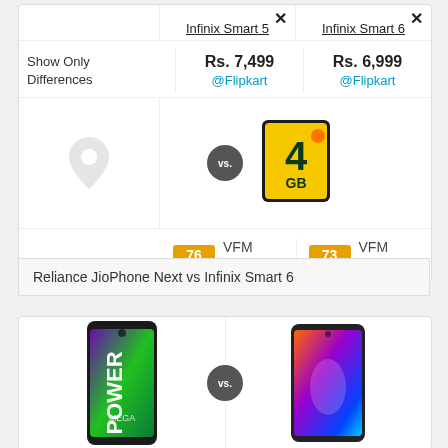Infinix Smart 5
Infinix Smart 6
Show Only Differences
Rs. 7,499 @Flipkart
Rs. 6,999 @Flipkart
[Figure (infographic): Phone product images comparison with vs circle in middle. Left: Infinix Smart 5 with location pin placeholder. Right: Infinix Smart 6 with 4GB badge image.]
76 VFM Score
73 VFM Score
Reliance JioPhone Next vs Infinix Smart 6
[Figure (photo): Bottom comparison card showing two smartphones side by side with vs circle. Left phone has purple/green gradient with POWER MEGA text. Right phone has colorful gradient display.]